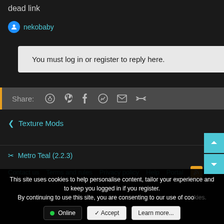dead link
nekobaby
You must log in or register to reply here.
Share: (icons: reddit, pinterest, tumblr, whatsapp, email, link)
< Texture Mods
Metro Teal (2.2.3)
Contact us   Terms and rules   Privacy policy   Help   Portal   [RSS]
This site uses cookies to help personalise content, tailor your experience and to keep you logged in if you register. By continuing to use this site, you are consenting to our use of cookies.
Online   ✓ Accept   Learn more...